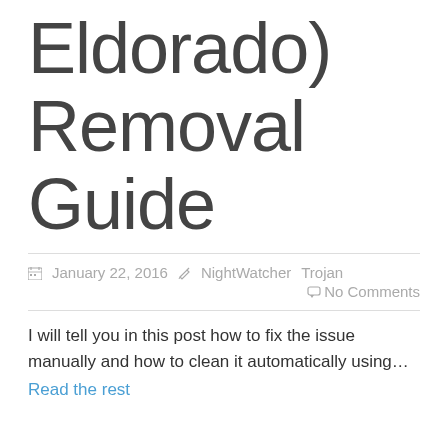Eldorado) Removal Guide
January 22, 2016  NightWatcher  Trojan  No Comments
I will tell you in this post how to fix the issue manually and how to clean it automatically using… Read the rest